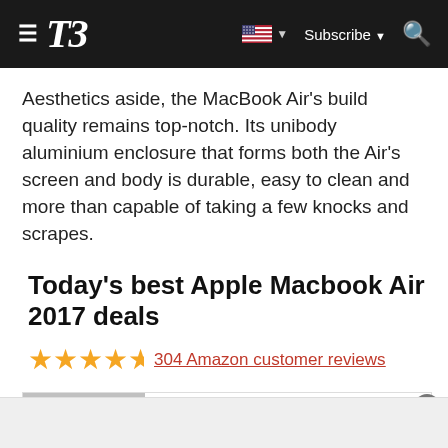T3 — Subscribe
Aesthetics aside, the MacBook Air's build quality remains top-notch. Its unibody aluminium enclosure that forms both the Air's screen and body is durable, easy to clean and more than capable of taking a few knocks and scrapes.
Today's best Apple Macbook Air 2017 deals
★★★★½  304 Amazon customer reviews
[Figure (infographic): Deal widget showing Amazon listing for Apple MacBook Air 2017 with no price information and a CHECK AMAZON button. Includes a grey placeholder image box labeled NO IMAGE AVAILABLE, Amazon logo with arrow, and red CHECK AMAZON button.]